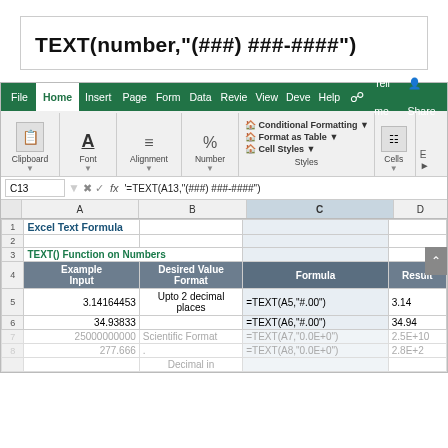TEXT(number,"(###) ###-####")
[Figure (screenshot): Excel ribbon screenshot showing Home tab with Clipboard, Font, Alignment, Number, Styles, Cells, and other groups]
| Example Input | Desired Value Format | Formula | Result |
| --- | --- | --- | --- |
| 3.14164453 | Upto 2 decimal places | =TEXT(A5,"#.00") | 3.14 |
| 34.93833 |  | =TEXT(A6,"#.00") | 34.94 |
| 25000000000 | Scientific Format | =TEXT(A7,"0.0E+0") | 2.5E+10 |
| 277.666 | . | =TEXT(A8,"0.0E+0") | 2.8E+2 |
|  | Decimal in |  |  |